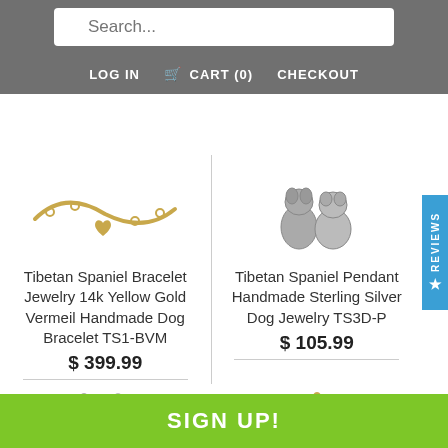Search...  LOG IN  CART (0)  CHECKOUT
[Figure (photo): Tibetan Spaniel bracelet with 14k yellow gold vermeil chain and heart charm]
Tibetan Spaniel Bracelet Jewelry 14k Yellow Gold Vermeil Handmade Dog Bracelet TS1-BVM
$ 399.99
[Figure (photo): Tibetan Spaniel pendant handmade sterling silver dog jewelry]
Tibetan Spaniel Pendant Handmade Sterling Silver Dog Jewelry TS3D-P
$ 105.99
[Figure (photo): Two small Tibetan Spaniel dog figures in silver]
[Figure (photo): Small Tibetan Spaniel angel charm in gold tone]
SIGN UP!